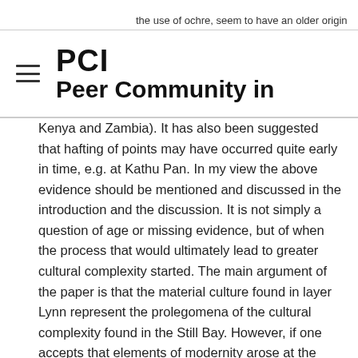the use of ochre, seem to have an older origin
PCI
Peer Community in
Kenya and Zambia). It has also been suggested that hafting of points may have occurred quite early in time, e.g. at Kathu Pan. In my view the above evidence should be mentioned and discussed in the introduction and the discussion. It is not simply a question of age or missing evidence, but of when the process that would ultimately lead to greater cultural complexity started. The main argument of the paper is that the material culture found in layer Lynn represent the prolegomena of the cultural complexity found in the Still Bay. However, if one accepts that elements of modernity arose at the very beginning of the MSA what we find in layer Lynn represent just a step within a much longer process. Accepting a longer chronology for this process would imply that the earliest symptoms of modernity coincide with the emergence of some modern anatomical characters. Discarding